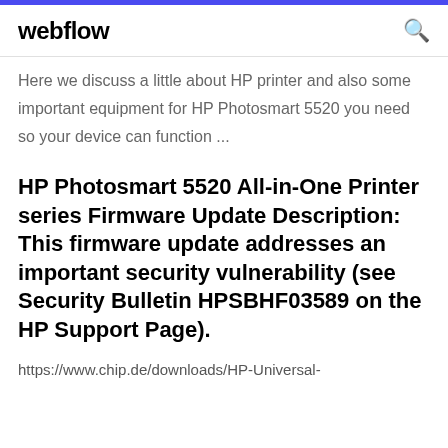webflow
Here we discuss a little about HP printer and also some important equipment for HP Photosmart 5520 you need so your device can function ...
HP Photosmart 5520 All-in-One Printer series Firmware Update Description: This firmware update addresses an important security vulnerability (see Security Bulletin HPSBHF03589 on the HP Support Page).
https://www.chip.de/downloads/HP-Universal-